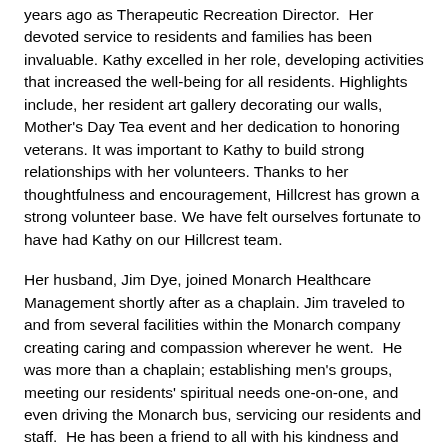years ago as Therapeutic Recreation Director.  Her devoted service to residents and families has been invaluable. Kathy excelled in her role, developing activities that increased the well-being for all residents. Highlights include, her resident art gallery decorating our walls, Mother's Day Tea event and her dedication to honoring veterans. It was important to Kathy to build strong relationships with her volunteers. Thanks to her thoughtfulness and encouragement, Hillcrest has grown a strong volunteer base. We have felt ourselves fortunate to have had Kathy on our Hillcrest team.
Her husband, Jim Dye, joined Monarch Healthcare Management shortly after as a chaplain. Jim traveled to and from several facilities within the Monarch company creating caring and compassion wherever he went.  He was more than a chaplain; establishing men's groups, meeting our residents' spiritual needs one-on-one, and even driving the Monarch bus, servicing our residents and staff.  He has been a friend to all with his kindness and thoughtfulness.
Together, their spirituality is the foundation of their life work.